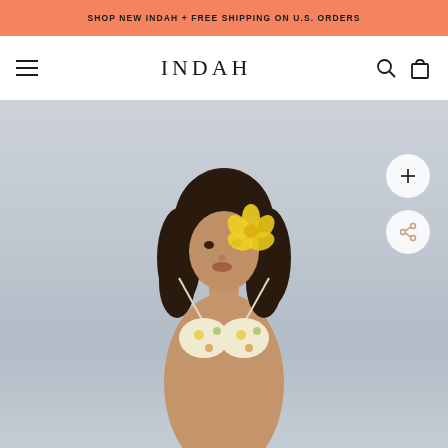SHOP NEW INDAH + FREE SHIPPING ON U.S. ORDERS
INDAH
[Figure (photo): A young woman with dark wavy hair wearing a yellow hibiscus flower, dressed in a floral bikini top with halter strings, photographed against an overcast sky background in a fashion/lifestyle editorial style.]